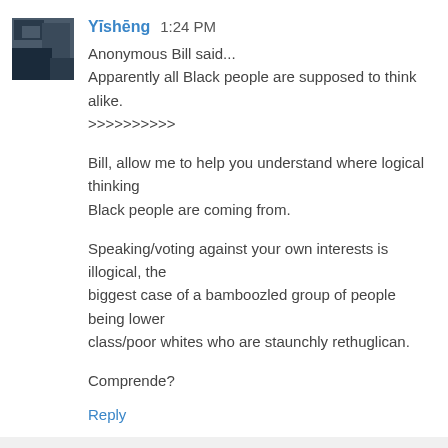Yīshēng 1:24 PM
Anonymous Bill said...
Apparently all Black people are supposed to think alike.
>>>>>>>>>>

Bill, allow me to help you understand where logical thinking Black people are coming from.

Speaking/voting against your own interests is illogical, the biggest case of a bamboozled group of people being lower class/poor whites who are staunchly rethuglican.

Comprende?
Reply
▾ Replies
PilotX 1:37 PM
Good luck with that Doc. You do realize who